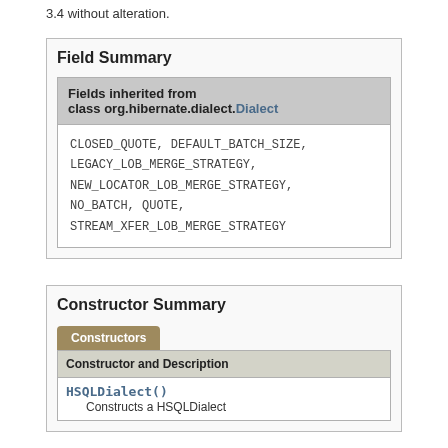3.4 without alteration.
| Fields inherited from class org.hibernate.dialect.Dialect |
| --- |
| CLOSED_QUOTE, DEFAULT_BATCH_SIZE, LEGACY_LOB_MERGE_STRATEGY, NEW_LOCATOR_LOB_MERGE_STRATEGY, NO_BATCH, QUOTE, STREAM_XFER_LOB_MERGE_STRATEGY |
| Constructor and Description |
| --- |
| HSQLDialect()
Constructs a HSQLDialect |